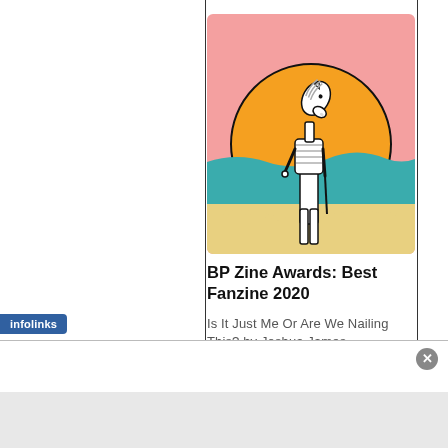[Figure (illustration): Illustration of a horse-headed humanoid figure wearing a striped shirt and white pants, bowing or looking down, set against a beach scene with a large orange sun, pink sky, and teal ocean water with sandy foreground.]
BP Zine Awards: Best Fanzine 2020
Is It Just Me Or Are We Nailing This? by Joshua James